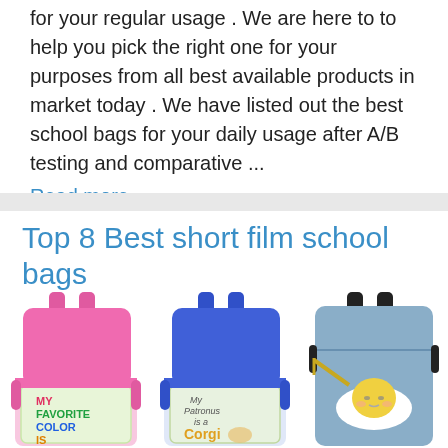for your regular usage . We are here to to help you pick the right one for your purposes from all best available products in market today . We have listed out the best school bags for your daily usage after A/B testing and comparative ... Read more
Top 8 Best short film school bags
[Figure (photo): Three school backpacks side by side: a pink one with 'MY FAVORITE COLOR IS NOBODY'S' text, a blue one with 'My Patronus is a Corgi' text, and a blue-gray one with a Gudetama (lazy egg) graphic.]